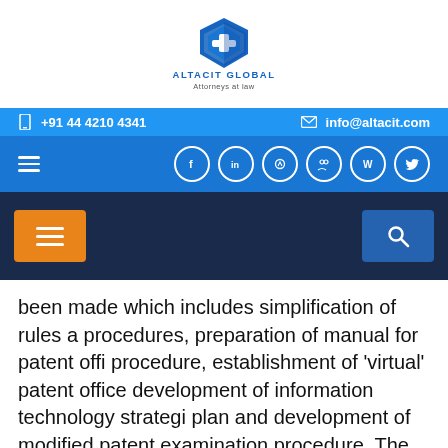[Figure (logo): Altacit Global Attorneys at Law logo — blue diamond/house icon with stylized letters, company name below]
+91 44 4210 4341   info@altacit.com
been made which includes simplification of rules a procedures, preparation of manual for patent offi procedure, establishment of 'virtual' patent office development of information technology strategi plan and development of modified patent examination procedure. The objective of this agen is to ensure decentralisation of activities, computerisation of patent procedures, networkin